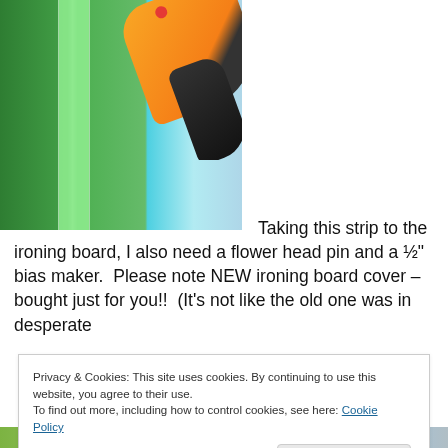[Figure (photo): Photo of a green cutting mat with ruler markings and a yellow and black rotary cutter tool on blue fabric]
Taking this strip to the ironing board, I also need a flower head pin and a ½" bias maker.  Please note NEW ironing board cover – bought just for you!!  (It's not like the old one was in desperate
Privacy & Cookies: This site uses cookies. By continuing to use this website, you agree to their use.
To find out more, including how to control cookies, see here: Cookie Policy
[Figure (photo): Bottom strip showing partial view of another photo]